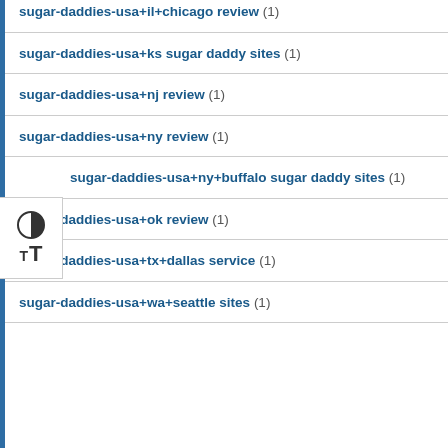sugar-daddies-usa+il+chicago review (1)
sugar-daddies-usa+ks sugar daddy sites (1)
sugar-daddies-usa+nj review (1)
sugar-daddies-usa+ny review (1)
sugar-daddies-usa+ny+buffalo sugar daddy sites (1)
sugar-daddies-usa+ok review (1)
sugar-daddies-usa+tx+dallas service (1)
sugar-daddies-usa+wa+seattle sites (1)